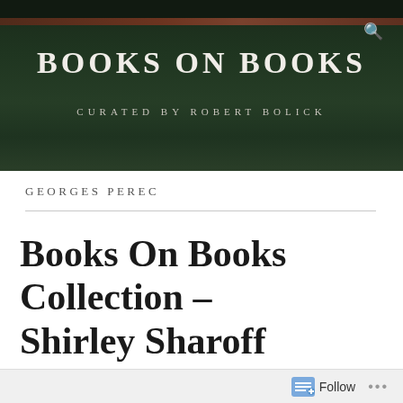[Figure (photo): Dark green textured background resembling a plant leaf or dark fabric, with a reddish-brown horizontal stripe near the top, serving as a website header banner.]
BOOKS ON BOOKS
CURATED BY ROBERT BOLICK
GEORGES PEREC
Books On Books Collection – Shirley Sharoff
Follow ...